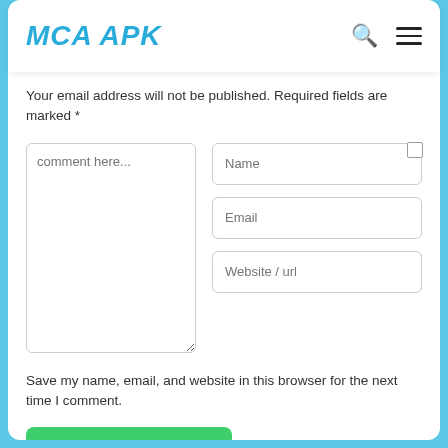MCA APK
Your email address will not be published. Required fields are marked *
comment here...
Name
Email
Website / url
Save my name, email, and website in this browser for the next time I comment.
Post Comment